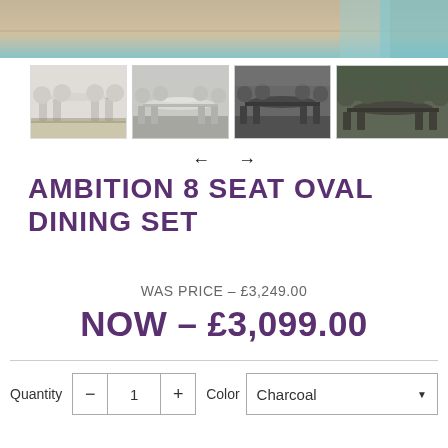[Figure (photo): Top hero image showing outdoor furniture from above near a pool]
[Figure (photo): Thumbnail 1: White/grey outdoor dining set on decking]
[Figure (photo): Thumbnail 2: Light grey oval dining set with chairs from above]
[Figure (photo): Thumbnail 3: Dark charcoal outdoor oval dining set]
[Figure (photo): Thumbnail 4: Dark outdoor oval dining set in garden setting]
AMBITION 8 SEAT OVAL DINING SET
WAS PRICE - £3,249.00
NOW - £3,099.00
Quantity  1  Color  Charcoal